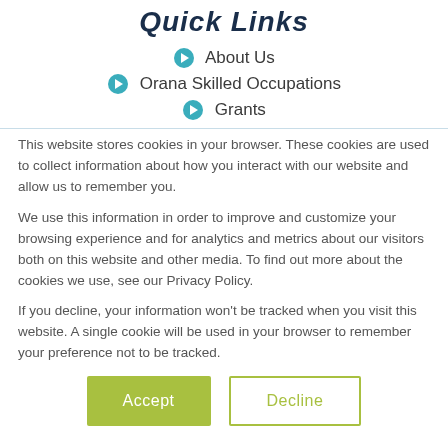Quick Links
About Us
Orana Skilled Occupations
Grants
This website stores cookies in your browser. These cookies are used to collect information about how you interact with our website and allow us to remember you.
We use this information in order to improve and customize your browsing experience and for analytics and metrics about our visitors both on this website and other media. To find out more about the cookies we use, see our Privacy Policy.
If you decline, your information won't be tracked when you visit this website. A single cookie will be used in your browser to remember your preference not to be tracked.